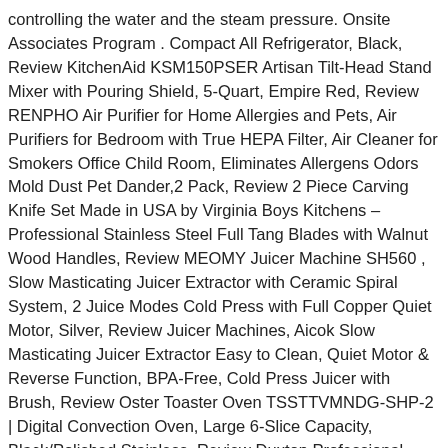controlling the water and the steam pressure. Onsite Associates Program . Compact All Refrigerator, Black, Review KitchenAid KSM150PSER Artisan Tilt-Head Stand Mixer with Pouring Shield, 5-Quart, Empire Red, Review RENPHO Air Purifier for Home Allergies and Pets, Air Purifiers for Bedroom with True HEPA Filter, Air Cleaner for Smokers Office Child Room, Eliminates Allergens Odors Mold Dust Pet Dander,2 Pack, Review 2 Piece Carving Knife Set Made in USA by Virginia Boys Kitchens – Professional Stainless Steel Full Tang Blades with Walnut Wood Handles, Review MEOMY Juicer Machine SH560 , Slow Masticating Juicer Extractor with Ceramic Spiral System, 2 Juice Modes Cold Press with Full Copper Quiet Motor, Silver, Review Juicer Machines, Aicok Slow Masticating Juicer Extractor Easy to Clean, Quiet Motor & Reverse Function, BPA-Free, Cold Press Juicer with Brush, Review Oster Toaster Oven TSSTTVMNDG-SHP-2 | Digital Convection Oven, Large 6-Slice Capacity, Black/Polished Stainless, Review Duxtop Professional Stainless Steel Induction Cookware Set, Timeless Tea Kettle Still A Household Necessity, Product Dimensions 14 x 12.5 x 10.2 inches. Customer Review: GEVI 5403 Espresso Machine.